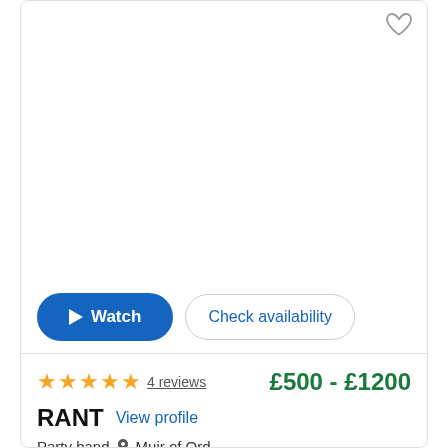[Figure (other): Listing card image area (blank/white) with heart/favourite icon in top right corner]
Watch
Check availability
★★★★★ 4 reviews    £500 - £1200
RANT  View profile
Party band  📍 Muir of Ord